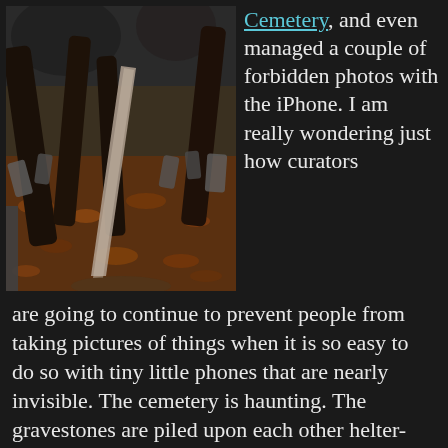[Figure (photo): Photo of an old cemetery with many ancient, leaning gravestones and large tree trunks, covered ground with fallen autumn leaves in reddish-brown tones.]
Cemetery, and even managed a couple of forbidden photos with the iPhone.  I am really wondering just how curators are going to continue to prevent people from taking pictures of things when it is so easy to do so with tiny little phones that are nearly invisible.  The cemetery is haunting.  The gravestones are piled upon each other helter-skelter  due to the lack of room and the practice of burying people one on top of the other up to 12 deep. I did wish